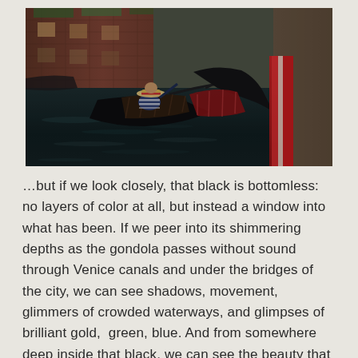[Figure (photo): Photograph of a gondolier in a straw hat steering a gondola through a dark Venetian canal, with brick buildings lining the waterway and a red-accented gondola visible on the right.]
…but if we look closely, that black is bottomless: no layers of color at all, but instead a window into what has been. If we peer into its shimmering depths as the gondola passes without sound through Venice canals and under the bridges of the city, we can see shadows, movement, glimmers of crowded waterways, and glimpses of brilliant gold,  green, blue. And from somewhere deep inside that black, we can see the beauty that not only was but is, the ancient city of Venice.